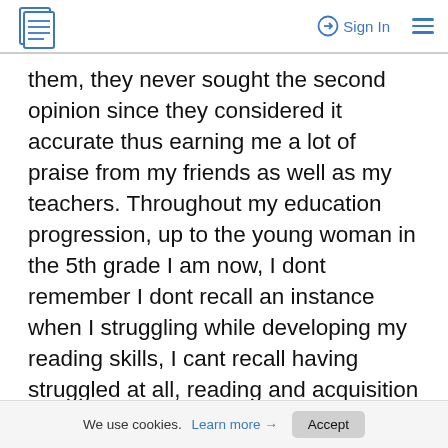Sign In
them, they never sought the second opinion since they considered it accurate thus earning me a lot of praise from my friends as well as my teachers. Throughout my education progression, up to the young woman in the 5th grade I am now, I dont remember I dont recall an instance when I struggling while developing my reading skills, I cant recall having struggled at all, reading and acquisition of knowledge has become a natural process which I cannot do without.
While looking at my reading processes and procedures, I must admit that there is a difference
We use cookies. Learn more → Accept